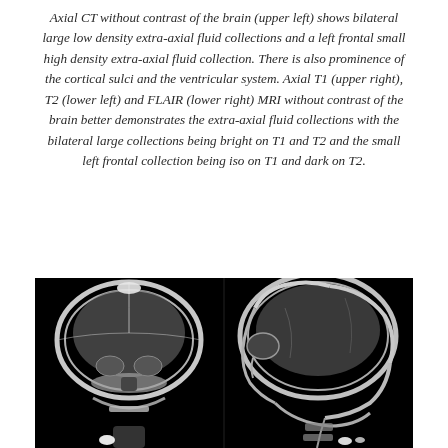Axial CT without contrast of the brain (upper left) shows bilateral large low density extra-axial fluid collections and a left frontal small high density extra-axial fluid collection. There is also prominence of the cortical sulci and the ventricular system. Axial T1 (upper right), T2 (lower left) and FLAIR (lower right) MRI without contrast of the brain better demonstrates the extra-axial fluid collections with the bilateral large collections being bright on T1 and T2 and the small left frontal collection being iso on T1 and dark on T2.
[Figure (photo): Two skull X-ray images on a black background side by side. Left image shows an anterior-posterior (frontal) view of a pediatric skull. Right image shows a lateral (side profile) view of the same pediatric skull. Both images are grayscale radiographs showing bone structure and cranial details.]